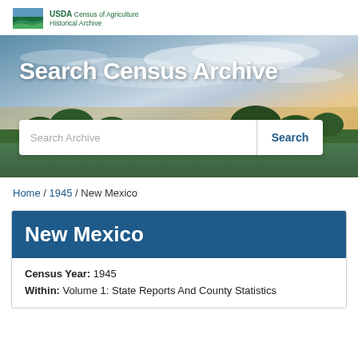[Figure (logo): USDA Census of Agriculture Historical Archive logo with green banner graphic]
[Figure (photo): Landscape hero banner with blue sky, clouds, green trees and fields, with 'Search Census Archive' title and search box overlay]
Home / 1945 / New Mexico
New Mexico
Census Year: 1945
Within: Volume 1: State Reports And County Statistics